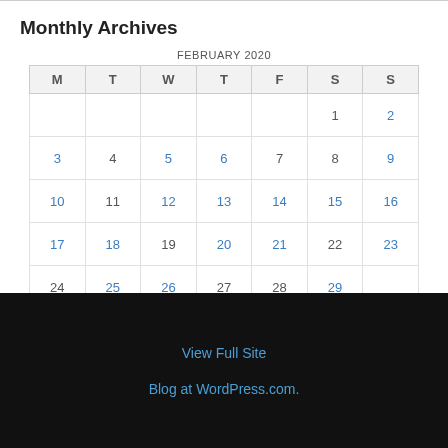Monthly Archives
| M | T | W | T | F | S | S |
| --- | --- | --- | --- | --- | --- | --- |
|  |  |  |  |  | 1 | 2 |
| 3 | 4 | 5 | 6 | 7 | 8 | 9 |
| 10 | 11 | 12 | 13 | 14 | 15 | 16 |
| 17 | 18 | 19 | 20 | 21 | 22 | 23 |
| 24 | 25 | 26 | 27 | 28 | 29 |  |
« Jan   Mar »
View Full Site
Blog at WordPress.com.